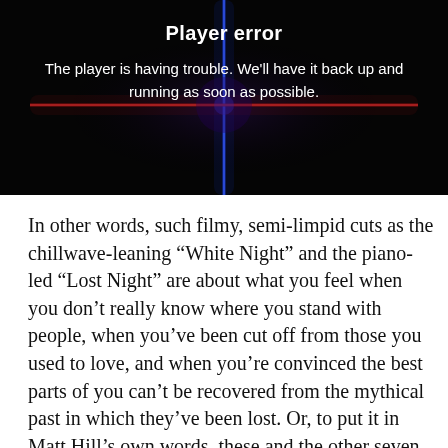[Figure (screenshot): Video player error screen with black background, colored cross/plus light beams in red and blue, showing 'Player error' title and error message text in white.]
Player error
The player is having trouble. We'll have it back up and running as soon as possible.
In other words, such filmy, semi-limpid cuts as the chillwave-leaning “White Night” and the piano-led “Lost Night” are about what you feel when you don’t really know where you stand with people, when you’ve been cut off from those you used to love, and when you’re convinced the best parts of you can’t be recovered from the mythical past in which they’ve been lost. Or, to put it in Matt Hill’s own words, these and the other seven songs on Alienation musically realize a “vision of a man experiencing a series of